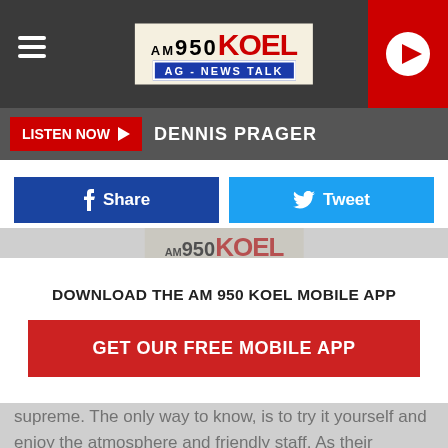AM 950 KOEL AG - NEWS TALK
LISTEN NOW  DENNIS PRAGER
Share   Tweet
[Figure (logo): AM 950 KOEL AG - NEWS TALK logo in content area]
The Pub At The Pinicon, New Hampton It's hard to argue who has the best tenderloin in Iowa right now. The current champion is the Pub At The Pinicon. They were the w... Breaded Pork Tenderloin Contest in 2019. As they say, gotta respect game... tenderloin reigns supreme. The only way to know, is to try it yourself and enjoy the atmosphere and friendly staff. As their website mentions, they've been an area favorite for over 60 years for fine dining. This historical building has hosted countless wedding
DOWNLOAD THE AM 950 KOEL MOBILE APP
GET OUR FREE MOBILE APP